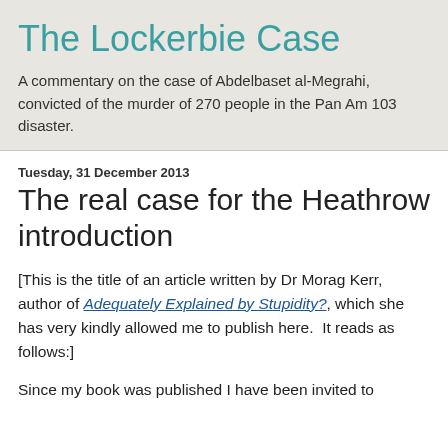The Lockerbie Case
A commentary on the case of Abdelbaset al-Megrahi, convicted of the murder of 270 people in the Pan Am 103 disaster.
Tuesday, 31 December 2013
The real case for the Heathrow introduction
[This is the title of an article written by Dr Morag Kerr, author of Adequately Explained by Stupidity?, which she has very kindly allowed me to publish here.  It reads as follows:]
Since my book was published I have been invited to